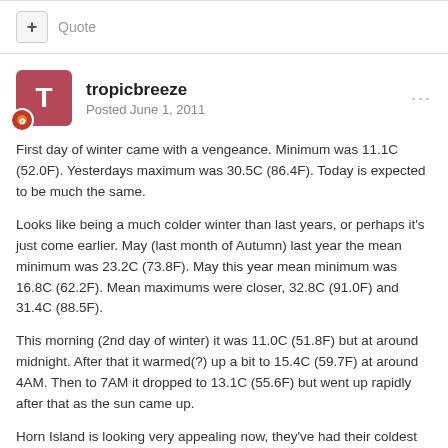+ Quote
tropicbreeze
Posted June 1, 2011
First day of winter came with a vengeance. Minimum was 11.1C (52.0F). Yesterdays maximum was 30.5C (86.4F). Today is expected to be much the same.
Looks like being a much colder winter than last years, or perhaps it's just come earlier. May (last month of Autumn) last year the mean minimum was 23.2C (73.8F). May this year mean minimum was 16.8C (62.2F). Mean maximums were closer, 32.8C (91.0F) and 31.4C (88.5F).
This morning (2nd day of winter) it was 11.0C (51.8F) but at around midnight. After that it warmed(?) up a bit to 15.4C (59.7F) at around 4AM. Then to 7AM it dropped to 13.1C (55.6F) but went up rapidly after that as the sun came up.
Horn Island is looking very appealing now, they've had their coldest morning, 23.8C (74.8F). I think I could cope with that type of minimum.